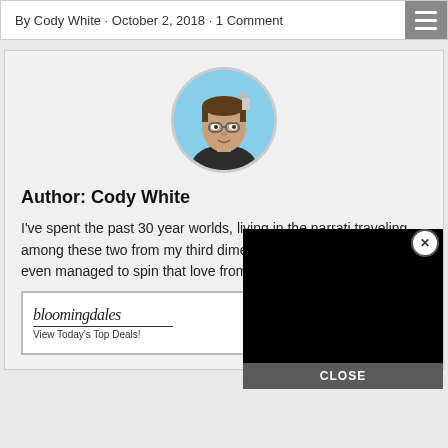By Cody White · October 2, 2018 · 1 Comment
[Figure (photo): Circular avatar photo of author Cody White, a man against a blue sky background]
Author: Cody White
I've spent the past 30 year worlds, living in the narrati traveling among these two from my third dimension. Along the way, I've even managed to spin that love from comics into a c
[Figure (screenshot): Black video player overlay with a close button (X) and CLOSE label]
[Figure (other): Bloomingdale's advertisement banner: bloomingdales, View Today's Top Deals!, SHOP NOW >]